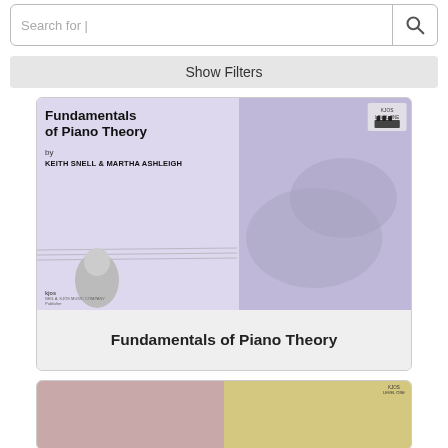Search for |
Show Filters
[Figure (illustration): Book cover for 'Fundamentals of Piano Theory' by Keith Snell & Martha Ashleigh, published by Neil A. Kjos Music Company. Cover has purple/lavender background with classical music imagery including a portrait of a composer and decorative musical motifs. 'KJOS LEVEL ONE' badge in top right.]
Fundamentals of Piano Theory
[Figure (illustration): Partial view of a second book card at the bottom of the page, showing two colored sections - pink/red on the left and yellow/gold on the right, with 'KJOS LEVEL ONE' badge partially visible.]